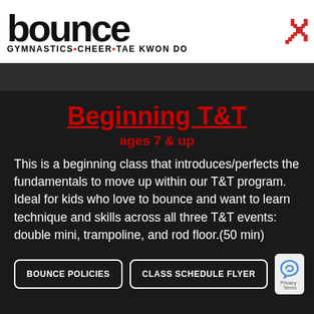[Figure (logo): Bounce gymnastics logo with large bold lowercase text and tagline 'GYMNASTICS • CHEER • TAE KWON DO' with a red gymnast figure silhouette]
Beginning T&T
ages 7 & up
This is a beginning class that introduces/perfects the fundamentals to move up within our T&T program. Ideal for kids who love to bounce and want to learn technique and skills across all three T&T events: double mini, trampoline, and rod floor.(50 min)
BOUNCE POLICIES
CLASS SCHEDULE FLYER